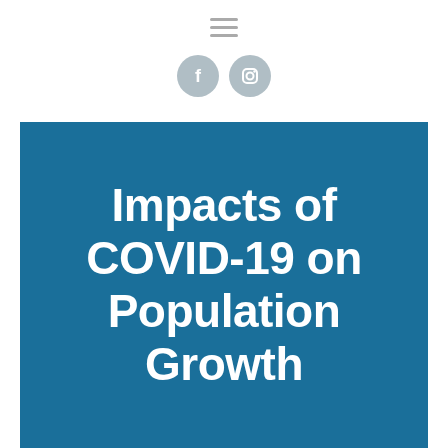navigation and social icons header
Impacts of COVID-19 on Population Growth